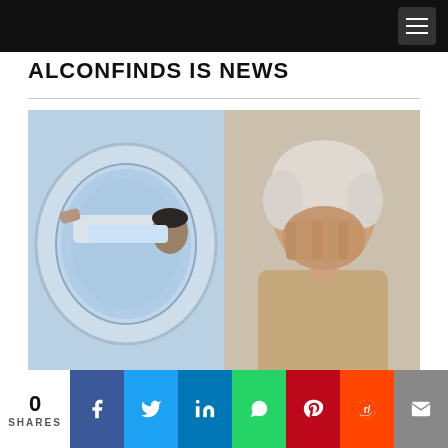ALCONFINDS IS NEWS
[Figure (photo): Two-part composite photo: left side shows a patient lying inside an MRI scanner machine being attended by a technician; right side shows an elderly woman with white hair covering her face with her hands in distress.]
With this new Algorithm, a Single MRI scan ca..